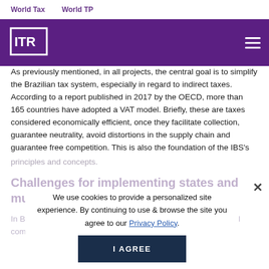World Tax   World TP
[Figure (logo): ITR (International Tax Review) logo — white square bracket and letters on purple background]
As previously mentioned, in all projects, the central goal is to simplify the Brazilian tax system, especially in regard to indirect taxes. According to a report published in 2017 by the OECD, more than 165 countries have adopted a VAT model. Briefly, these are taxes considered economically efficient, once they facilitate collection, guarantee neutrality, avoid distortions in the supply chain and guarantee free competition. This is also the foundation of the IBS's principles and concepts.
Challenges for implementing states and municipalities
In Brazil, the implementation of the IBS faces an unprecedented complexity because it involves the main
We use cookies to provide a personalized site experience. By continuing to use & browse the site you agree to our Privacy Policy.
I AGREE